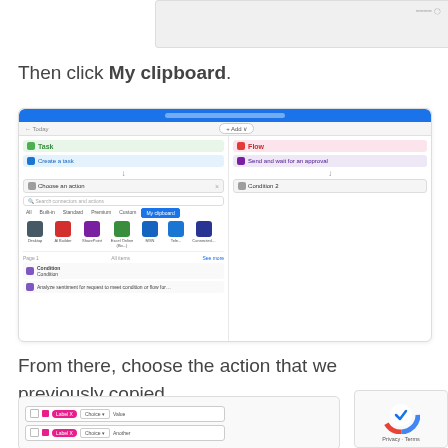[Figure (screenshot): Top partial screenshot of a workflow interface]
Then click My clipboard.
[Figure (screenshot): Screenshot of a workflow builder showing 'Choose an action' panel with 'My clipboard' tab selected and various app icons including SharePoint, Office 365, etc.]
From there, choose the action that we previously copied.
[Figure (screenshot): Bottom partial screenshot showing a table with rows containing pink pills labeled with action names, dropdowns, and values]
[Figure (other): reCAPTCHA privacy overlay with Google logo, Privacy and Terms text]